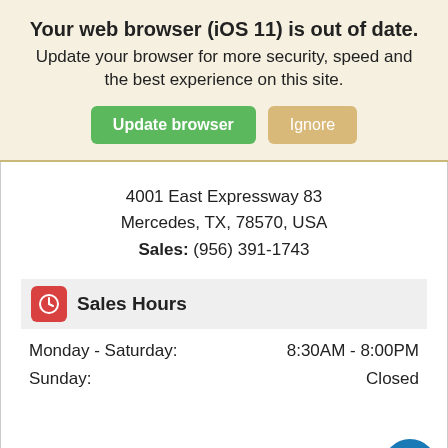Your web browser (iOS 11) is out of date. Update your browser for more security, speed and the best experience on this site.
4001 East Expressway 83
Mercedes, TX, 78570, USA
Sales: (956) 391-1743
Sales Hours
| Day | Hours |
| --- | --- |
| Monday - Saturday: | 8:30AM - 8:00PM |
| Sunday: | Closed |
Search  Saved  Share  Contact